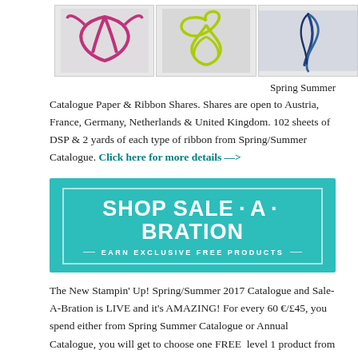[Figure (photo): Three photos of curled ribbons side by side: pink ribbon, yellow/lime ribbon, blue ribbon]
Spring Summer Catalogue Paper & Ribbon Shares. Shares are open to Austria, France, Germany, Netherlands & United Kingdom. 102 sheets of DSP & 2 yards of each type of ribbon from Spring/Summer Catalogue. Click here for more details —>
[Figure (infographic): Teal/turquoise banner reading SHOP SALE · A · BRATION with subtitle EARN EXCLUSIVE FREE PRODUCTS]
The New Stampin' Up! Spring/Summer 2017 Catalogue and Sale-A-Bration is LIVE and it's AMAZING! For every 60 €/£45, you spend either from Spring Summer Catalogue or Annual Catalogue, you will get to choose one FREE level 1 product from SAB brochure! If you spend 120 €/£90, you get one